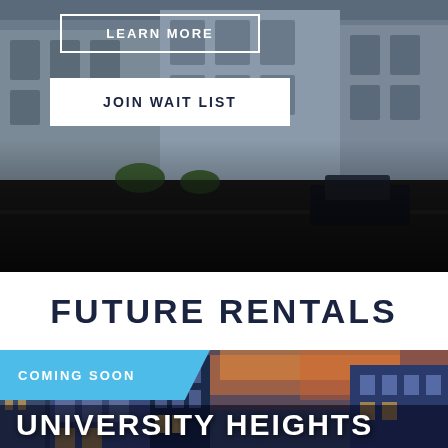[Figure (photo): Aerial/street view of a modern mixed-use building complex with stone facade and cars on the road, dark overlay at bottom]
LEARN MORE
JOIN WAIT LIST
FUTURE RENTALS
[Figure (photo): Rendering of modern apartment buildings at sunset with dramatic sky, University Heights development]
COMING SOON
UNIVERSITY HEIGHTS